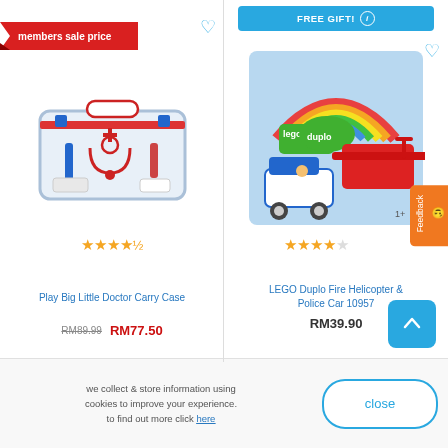[Figure (screenshot): E-commerce product listing page showing two toy products with prices, ratings, and promotional badges]
members sale price
[Figure (photo): Play Big Little Doctor Carry Case toy - a transparent plastic carry case with doctor play set inside]
★★★★½
Play Big Little Doctor Carry Case
RM89.99  RM77.50
FREE GIFT!
[Figure (photo): LEGO Duplo Fire Helicopter & Police Car 10957 box - colorful box with rainbow, police car and helicopter]
★★★★☆
LEGO Duplo Fire Helicopter & Police Car 10957
RM39.90
Feedback
we collect & store information using cookies to improve your experience. to find out more click here
close